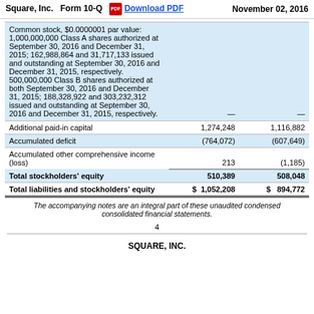Square, Inc.   Form 10-Q   Download PDF   November 02, 2016
|  |  |  |
| --- | --- | --- |
| Common stock, $0.0000001 par value: 1,000,000,000 Class A shares authorized at September 30, 2016 and December 31, 2015; 162,988,864 and 31,717,133 issued and outstanding at September 30, 2016 and December 31, 2015, respectively. 500,000,000 Class B shares authorized at both September 30, 2016 and December 31, 2015; 188,328,922 and 303,232,312 issued and outstanding at September 30, 2016 and December 31, 2015, respectively. | — | — |
| Additional paid-in capital | 1,274,248 | 1,116,882 |
| Accumulated deficit | (764,072) | (607,649) |
| Accumulated other comprehensive income (loss) | 213 | (1,185) |
| Total stockholders' equity | 510,389 | 508,048 |
| Total liabilities and stockholders' equity | $ 1,052,208 | $ 894,772 |
The accompanying notes are an integral part of these unaudited condensed consolidated financial statements.
4
SQUARE, INC.